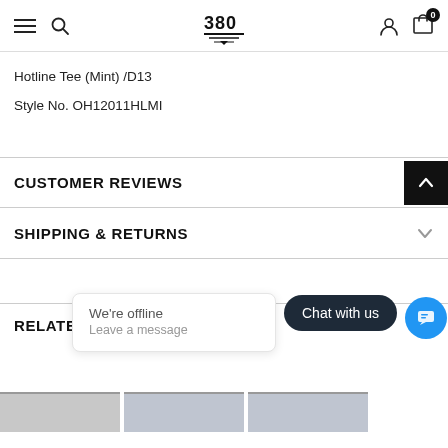Navigation bar with hamburger menu, search icon, 380 logo, user icon, and cart with 0 items
Hotline Tee (Mint) /D13
Style No. OH12011HLMI
CUSTOMER REVIEWS
SHIPPING & RETURNS
RELATED PRODUCTS
We're offline
Leave a message
Chat with us